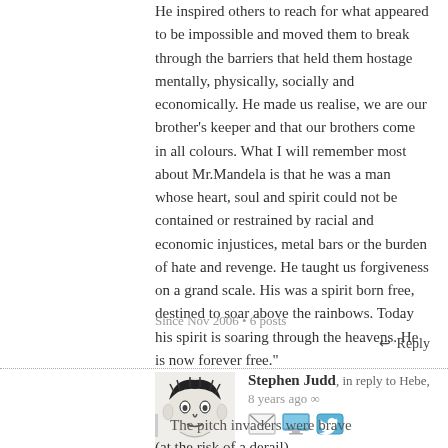He inspired others to reach for what appeared to be impossible and moved them to break through the barriers that held them hostage mentally, physically, socially and economically. He made us realise, we are our brother's keeper and that our brothers come in all colours. What I will remember most about Mr.Mandela is that he was a man whose heart, soul and spirit could not be contained or restrained by racial and economic injustices, metal bars or the burden of hate and revenge. He taught us forgiveness on a grand scale. His was a spirit born free, destined to soar above the rainbows. Today his spirit is soaring through the heavens. He is now forever free."
Since Nov 2006 • 6 posts
↩ Reply
Stephen Judd, in reply to Hebe, 8 years ago ∞
[Figure (illustration): Avatar image showing a stylized black and white illustration of a face]
The pitch invaders were brave
(at the risk of a derail)